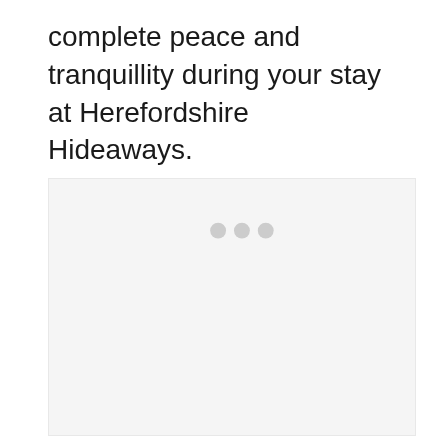complete peace and tranquillity during your stay at Herefordshire Hideaways.
[Figure (other): A light grey placeholder/loading box with three small grey dots centered near the top, indicating a loading or placeholder image area.]